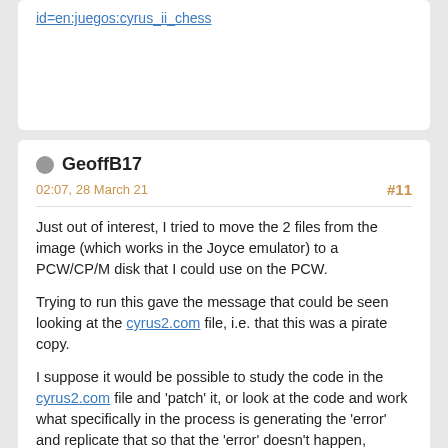id=en:juegos:cyrus_ii_chess
GeoffB17
02:07, 28 March 21
#11
Just out of interest, I tried to move the 2 files from the image (which works in the Joyce emulator) to a PCW/CP/M disk that I could use on the PCW.
Trying to run this gave the message that could be seen looking at the cyrus2.com file, i.e. that this was a pirate copy.
I suppose it would be possible to study the code in the cyrus2.com file and 'patch' it, or look at the code and work what specifically in the process is generating the 'error' and replicate that so that the 'error' doesn't happen, however, as I have another chess game that works fine (well, this one is a lnultipl copy) it's not really worth it.